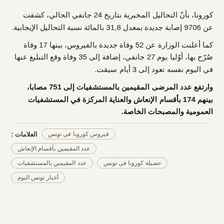كورونا، بأنّ التحاليل المخبرية بتاريخ 24 جانفي الحالي، كشفت عن 9706 إصابة جديدة بمعدل 31,8 بالمائة نسبة التحاليل الإيجابية.
كما أعلنت الوزارة عن 52 وفاة جديدة بالفيروس، بينها 17 وفاة صُرّح بها، أوّليا يوم 27 جانفي، إضافة إلى 35 وفاة وقع التبليغ عنها في اليوم نفسه تعود إلى 3 أيام سيقت.
وارتفع عدد المرضى المقيمين بالمستشفيات إلى 751 مصابا، بينهم 174 بأقسام الإنعاش والعناية المركزة في المستشفيات العمومية والمصبحات الخاصة.
العلامات : فيروس كورونا في تونس
عدد المقيمين بأقسام الإنعاش
عدد المقيمين بالمستشفيات
حصيلة كورونا في تونس
أخبار تونس اليوم